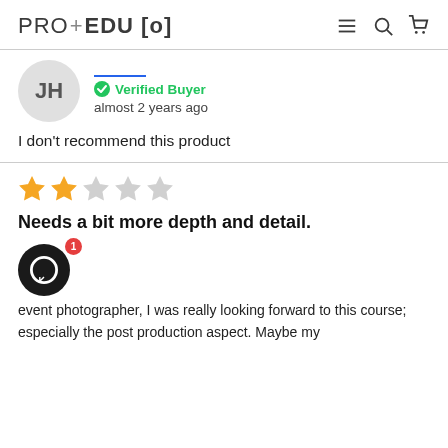PRO+EDU [o]
[Figure (logo): PRO+EDU [o] logo with navigation icons (hamburger menu, search, cart)]
Verified Buyer
almost 2 years ago
I don't recommend this product
[Figure (other): 2 out of 5 stars rating]
Needs a bit more depth and detail.
event photographer, I was really looking forward to this course; especially the post production aspect. Maybe my